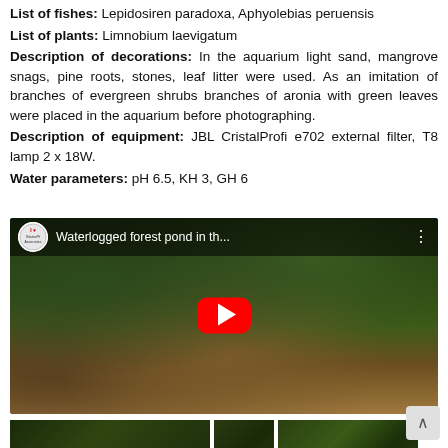List of fishes: Lepidosiren paradoxa, Aphyolebias peruensis
List of plants: Limnobium laevigatum
Description of decorations: In the aquarium light sand, mangrove snags, pine roots, stones, leaf litter were used. As an imitation of branches of evergreen shrubs branches of aronia with green leaves were placed in the aquarium before photographing.
Description of equipment: JBL CristalProfi e702 external filter, T8 lamp 2 x 18W.
Water parameters: pH 6.5, KH 3, GH 6
[Figure (screenshot): YouTube video thumbnail showing an aquarium with the title 'Waterlogged forest pond in th...' with a red play button, channel icon, and three-dot menu.]
[Figure (photo): Three partial aquarium photos at the bottom of the page showing aquatic plants and underwater scenes.]